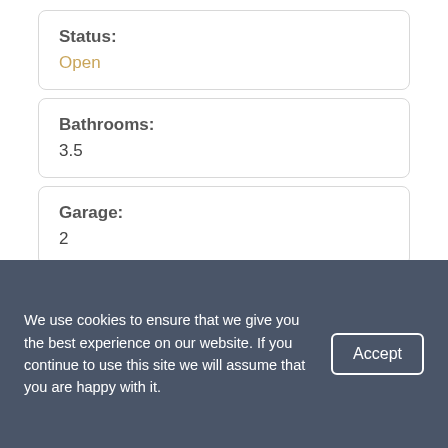Status:
Open
Bathrooms:
3.5
Garage:
2
Lot size:
We use cookies to ensure that we give you the best experience on our website. If you continue to use this site we will assume that you are happy with it.